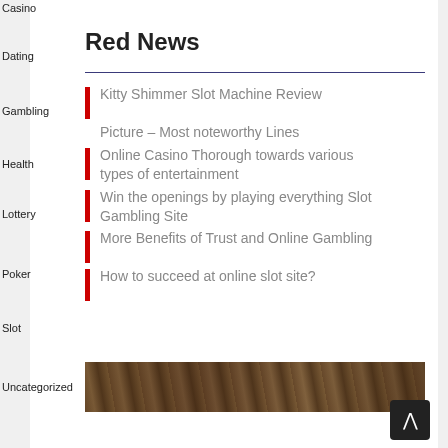Casino
Dating
Red News
Gambling
Kitty Shimmer Slot Machine Review
Picture – Most noteworthy Lines
Health
Online Casino Thorough towards various types of entertainment
Lottery
Win the openings by playing everything Slot Gambling Site
Poker
More Benefits of Trust and Online Gambling
Slot
How to succeed at online slot site?
[Figure (photo): Dark wood texture strip photo]
Uncategorized